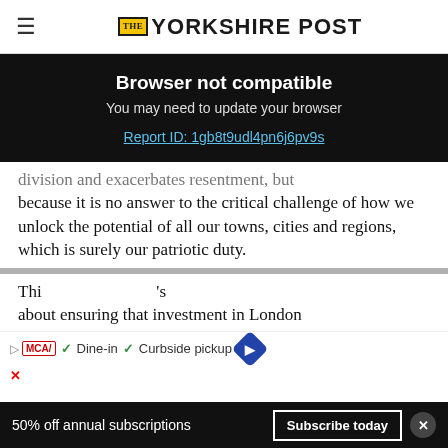THE YORKSHIRE POST
Browser not compatible
You may need to update your browser
Report ID: 1gb8t9udl4pn6j6pv9s
division and exacerbates resentment, but because it is no answer to the critical challenge of how we unlock the potential of all our towns, cities and regions, which is surely our patriotic duty.
Th... 's about ensuring that investment in London
50% off annual subscriptions  Subscribe today